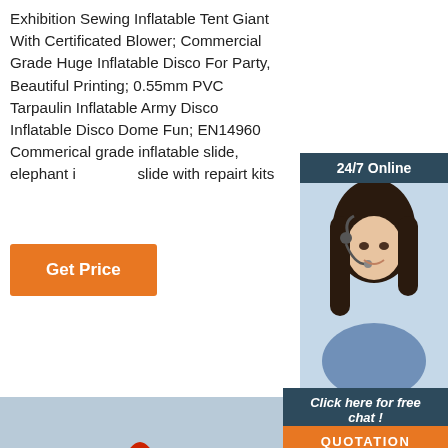Exhibition Sewing Inflatable Tent Giant With Certificated Blower; Commercial Grade Huge Inflatable Disco For Party, Beautiful Printing; 0.55mm PVC Tarpaulin Inflatable Army Disco Inflatable Disco Dome Fun; EN14960 Commerical grade inflatable slide, elephant inflatable slide with repairt kits
Get Price
24/7 Online
[Figure (photo): Customer service agent woman with headset, smiling]
Click here for free chat !
QUOTATION
[Figure (photo): Colorful inflatable slide with red arches and multicolor panels]
[Figure (photo): Colorful inflatable slide ramp, red green blue yellow stripes, with TOP watermark]